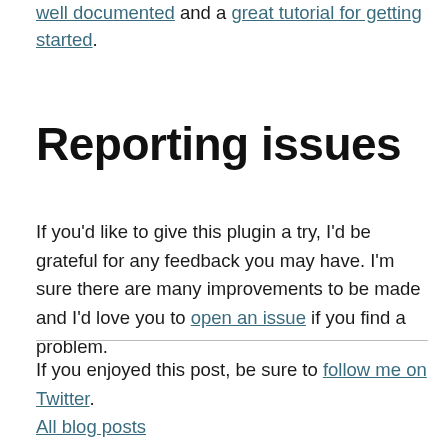well documented and a great tutorial for getting started.
Reporting issues
If you'd like to give this plugin a try, I'd be grateful for any feedback you may have. I'm sure there are many improvements to be made and I'd love you to open an issue if you find a problem.
If you enjoyed this post, be sure to follow me on Twitter.
All blog posts